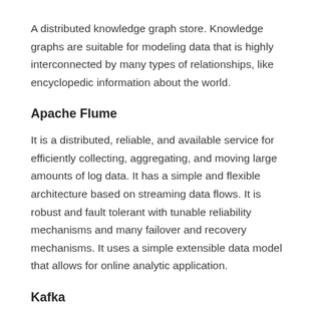A distributed knowledge graph store. Knowledge graphs are suitable for modeling data that is highly interconnected by many types of relationships, like encyclopedic information about the world.
Apache Flume
It is a distributed, reliable, and available service for efficiently collecting, aggregating, and moving large amounts of log data. It has a simple and flexible architecture based on streaming data flows. It is robust and fault tolerant with tunable reliability mechanisms and many failover and recovery mechanisms. It uses a simple extensible data model that allows for online analytic application.
Kafka